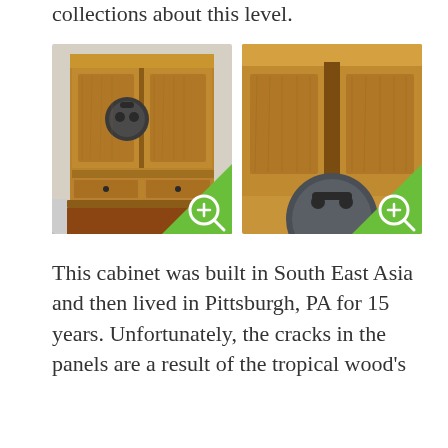collections about this level.
[Figure (photo): Two side-by-side photos of a wooden Asian-style cabinet with round medallion hardware. Left photo shows full cabinet view; right photo shows close-up of the upper portion. Both images have a green magnifying glass icon overlay in the bottom-right corner.]
This cabinet was built in South East Asia and then lived in Pittsburgh, PA for 15 years. Unfortunately, the cracks in the panels are a result of the tropical wood's